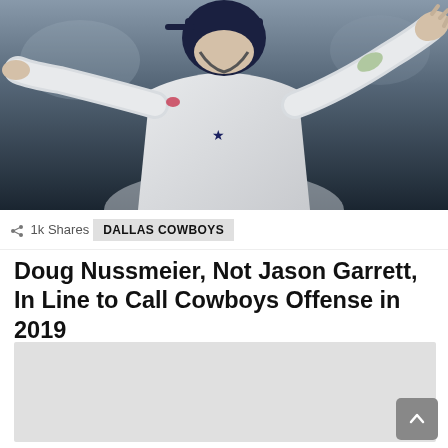[Figure (photo): Football player in white Dallas Cowboys jersey with star logo, arms outstretched, wearing a dark helmet with navy/white cap. Background shows a blurred stadium.]
1k Shares
DALLAS COWBOYS
Doug Nussmeier, Not Jason Garrett, In Line to Call Cowboys Offense in 2019